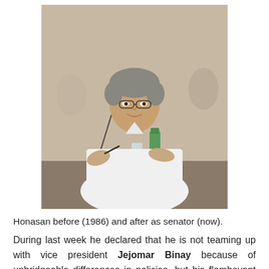[Figure (photo): Photo of a man in a white shirt at what appears to be a hearing or press conference, holding a pen near a microphone.]
Honasan before (1986) and after as senator (now).
During last week he declared that he is not teaming up with vice president Jejomar Binay because of unbridgeable differences in policies, but his flamboyant and somewhat adventurous image may give him a realistic chance.
[Figure (photo): Photo showing a banner/backdrop reading 'sident of th p' in large white bold letters on blue background, with a person visible below.]